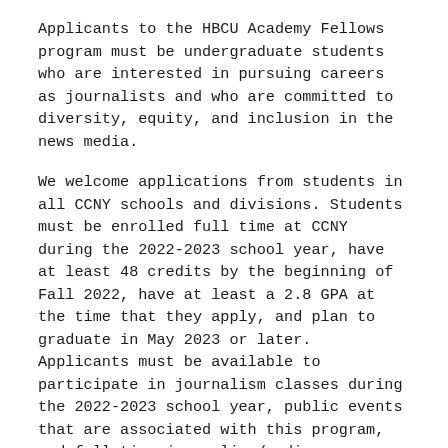Applicants to the HBCU Academy Fellows program must be undergraduate students who are interested in pursuing careers as journalists and who are committed to diversity, equity, and inclusion in the news media.
We welcome applications from students in all CCNY schools and divisions. Students must be enrolled full time at CCNY during the 2022-2023 school year, have at least 48 credits by the beginning of Fall 2022, have at least a 2.8 GPA at the time that they apply, and plan to graduate in May 2023 or later. Applicants must be available to participate in journalism classes during the 2022-2023 school year, public events that are associated with this program, and full-time journalism/media internships in Summer 2023.
Questions? Contact Deborah Cheng, Director of Fellowships, Colin Powell School Office of